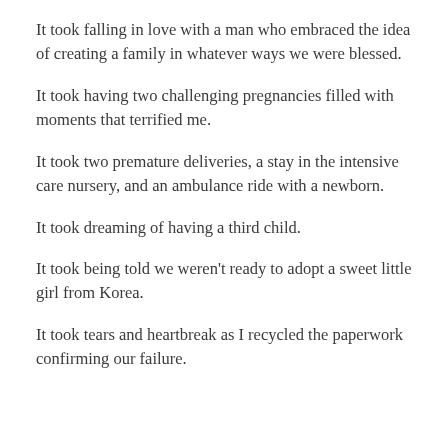It took falling in love with a man who embraced the idea of creating a family in whatever ways we were blessed.
It took having two challenging pregnancies filled with moments that terrified me.
It took two premature deliveries, a stay in the intensive care nursery, and an ambulance ride with a newborn.
It took dreaming of having a third child.
It took being told we weren't ready to adopt a sweet little girl from Korea.
It took tears and heartbreak as I recycled the paperwork confirming our failure.